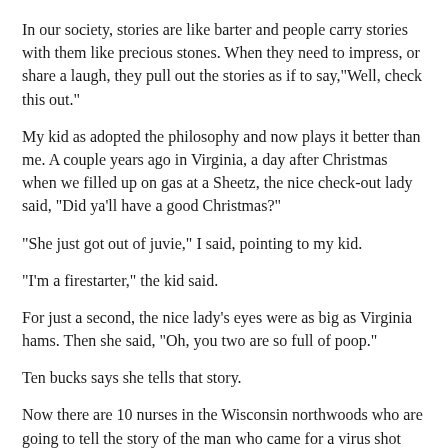In our society, stories are like barter and people carry stories with them like precious stones. When they need to impress, or share a laugh, they pull out the stories as if to say,"Well, check this out."
My kid as adopted the philosophy and now plays it better than me. A couple years ago in Virginia, a day after Christmas when we filled up on gas at a Sheetz, the nice check-out lady said, "Did ya'll have a good Christmas?"
"She just got out of juvie," I said, pointing to my kid.
"I'm a firestarter," the kid said.
For just a second, the nice lady's eyes were as big as Virginia hams. Then she said, "Oh, you two are so full of poop."
Ten bucks says she tells that story.
Now there are 10 nurses in the Wisconsin northwoods who are going to tell the story of the man who came for a virus shot and handed out Fireball shots.
Happy weekend to those near and far.